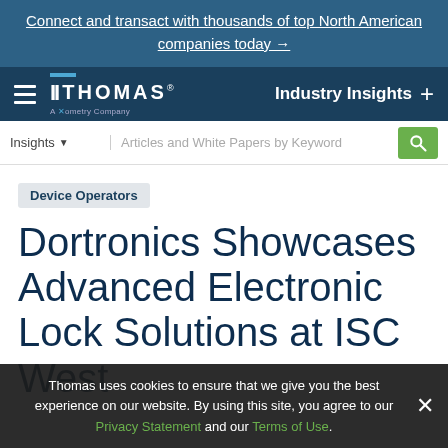Connect and transact with thousands of top North American companies today →
[Figure (logo): Thomas - A Xometry Company logo with navigation bar including hamburger menu and Industry Insights link]
[Figure (screenshot): Search bar with Insights dropdown and Articles and White Papers by Keyword placeholder]
Device Operators
Dortronics Showcases Advanced Electronic Lock Solutions at ISC West
Thomas uses cookies to ensure that we give you the best experience on our website. By using this site, you agree to our Privacy Statement and our Terms of Use.